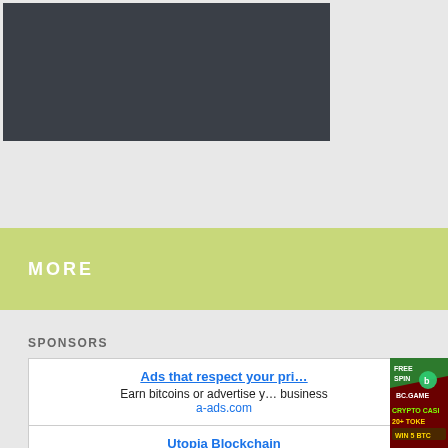[Figure (other): Dark banner/header image area with dark gray background]
MORE
SPONSORS
Ads that respect your pri...
Earn bitcoins or advertise y... business
a-ads.com
Utopia Blockchain
features anonymous transactio... no metadata
u.is
Signup and steal a JACK...
with 100 FREE Spins...
[Figure (photo): BC.GAME crypto casino advertisement showing FREE SPIN, BC.GAME logo, CRYPTO CASINO, 20+ TOKENS, WIN 5 BTC, PLAY NOW button]